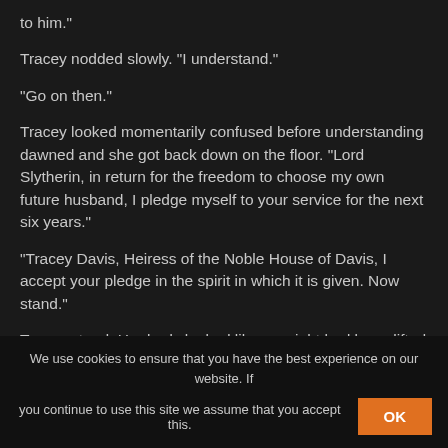to him."
Tracey nodded slowly. "I understand."
"Go on then."
Tracey looked momentarily confused before understanding dawned and she got back down on the floor. "Lord Slytherin, in return for the freedom to choose my own future husband, I pledge myself to your service for the next six years."
"Tracey Davis, Heiress of the Noble House of Davis, I accept your pledge in the spirit in which it is given. Now stand."
Tracey stood. Her body looked like a weight had been lifted
We use cookies to ensure that you have the best experience on our website. If you continue to use this site we assume that you accept this. OK